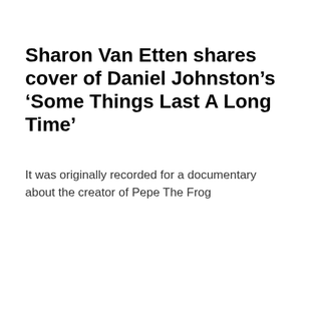Sharon Van Etten shares cover of Daniel Johnston's 'Some Things Last A Long Time'
It was originally recorded for a documentary about the creator of Pepe The Frog